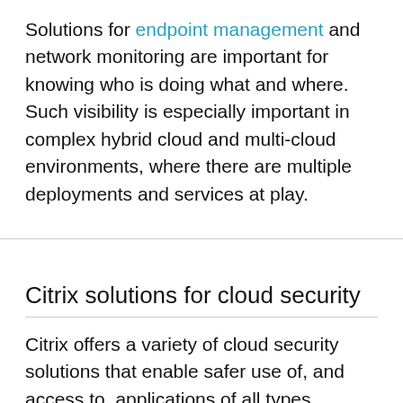Solutions for endpoint management and network monitoring are important for knowing who is doing what and where. Such visibility is especially important in complex hybrid cloud and multi-cloud environments, where there are multiple deployments and services at play.
Citrix solutions for cloud security
Citrix offers a variety of cloud security solutions that enable safer use of, and access to, applications of all types, helping support more efficient remote work environments and multi-cloud deployments;